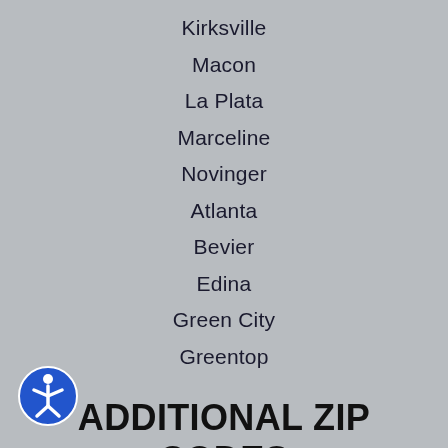Kirksville
Macon
La Plata
Marceline
Novinger
Atlanta
Bevier
Edina
Green City
Greentop
ADDITIONAL ZIP CODES
63501
63552
63549
64658
63559